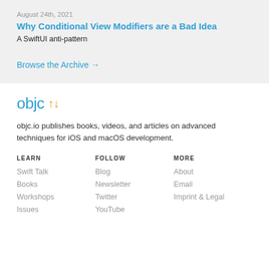August 24th, 2021
Why Conditional View Modifiers are a Bad Idea
A SwiftUI anti-pattern
Browse the Archive →
objc ↑↓
objc.io publishes books, videos, and articles on advanced techniques for iOS and macOS development.
LEARN
Swift Talk
Books
Workshops
Issues
FOLLOW
Blog
Newsletter
Twitter
YouTube
MORE
About
Email
Imprint & Legal